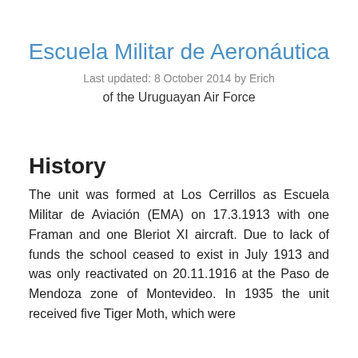Escuela Militar de Aeronáutica
Last updated: 8 October 2014 by Erich
of the Uruguayan Air Force
History
The unit was formed at Los Cerrillos as Escuela Militar de Aviación (EMA) on 17.3.1913 with one Framan and one Bleriot XI aircraft. Due to lack of funds the school ceased to exist in July 1913 and was only reactivated on 20.11.1916 at the Paso de Mendoza zone of Montevideo. In 1935 the unit received five Tiger Moth, which were